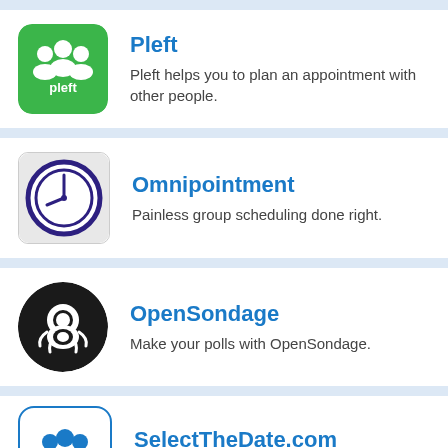[Figure (logo): Pleft app icon - green background with white people silhouettes and 'pleft' text]
Pleft
Pleft helps you to plan an appointment with other people.
[Figure (logo): Omnipointment app icon - clock face with dark purple/navy border on white/grey background]
Omnipointment
Painless group scheduling done right.
[Figure (logo): OpenSondage app icon - GitHub octocat logo on black circular background]
OpenSondage
Make your polls with OpenSondage.
[Figure (logo): SelectTheDate.com app icon - group of people icon in blue on white rounded square with blue border]
SelectTheDate.com
TransIP - Reserved domain